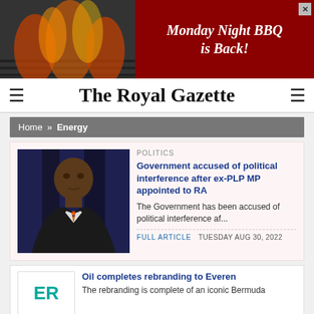[Figure (other): Advertisement banner for Monday Night BBQ is Back, showing fire/grill on left and dark red background on right with italic text]
The Royal Gazette
Home » Energy
POLITICS
Government accused of political interference after ex-PLP MP appointed to RA
The Government has been accused of political interference af...
FULL ARTICLE   TUESDAY AUG 30, 2022
Oil completes rebranding to Everen
The rebranding is complete of an iconic Bermuda